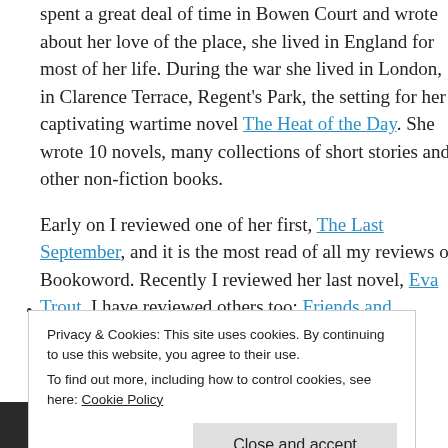spent a great deal of time in Bowen Court and wrote about her love of the place, she lived in England for most of her life. During the war she lived in London, in Clarence Terrace, Regent's Park, the setting for her captivating wartime novel The Heat of the Day. She wrote 10 novels, many collections of short stories and other non-fiction books.
Early on I reviewed one of her first, The Last September, and it is the most read of all my reviews on Bookoword. Recently I reviewed her last novel, Eva Trout. I have reviewed others too: Friends and Relations, The House in
Privacy & Cookies: This site uses cookies. By continuing to use this website, you agree to their use.
To find out more, including how to control cookies, see here: Cookie Policy
Close and accept
[Figure (photo): Bottom portion of a black and white photograph, partially visible]